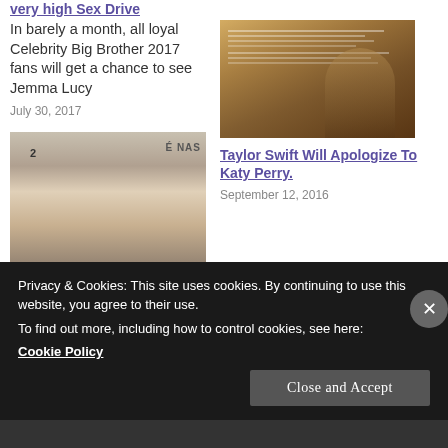very high Sex Drive
In barely a month, all loyal Celebrity Big Brother 2017 fans will get a chance to see Jemma Lucy
July 30, 2017
[Figure (photo): Photo of Taylor Swift with text overlay, likely album lyrics]
Taylor Swift Will Apologize To Katy Perry.
September 12, 2016
[Figure (photo): Photo of Laura Whitmore at an event, blonde woman in silver dress]
Laura Whitmore defends 'annoying
Privacy & Cookies: This site uses cookies. By continuing to use this website, you agree to their use.
To find out more, including how to control cookies, see here:
Cookie Policy
Close and Accept